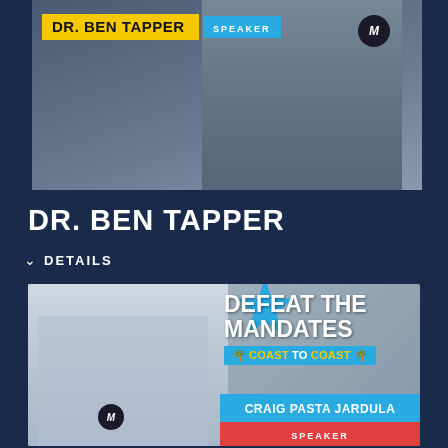[Figure (photo): Dr. Ben Tapper holding a microphone, with a yellow name badge overlay reading DR. BEN TAPPER and blue SPEAKER label]
DR. BEN TAPPER
DETAILS
[Figure (photo): Craig Pasta Jardula standing with a microphone, Defeat The Mandates Coast to Coast promotional image with colorful stars background. Text: DEFEAT THE MANDATES COAST TO COAST, CRAIG PASTA JARDULA, SPEAKER]